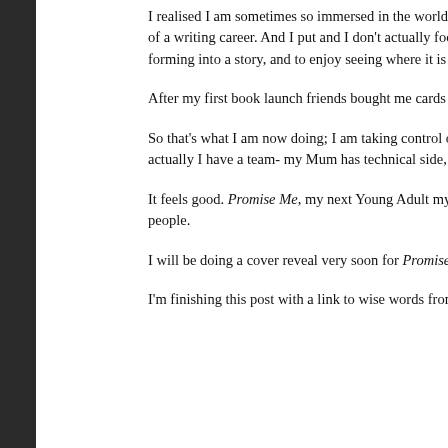I realised I am sometimes so immersed in the world of writers, on s predominantly, especially the past few years, I subconsciously abs or coveted direction to travel in terms of a writing career. And I put and I don't actually focus enough on allowing myself to just actuall back to that raw feeling of excitement that I get from joining words forming into a story, and to enjoy seeing where it is going to take m
After my first book launch friends bought me cards and bookmarks phrase appearing on these: ' Create Your Own Story.'
So that's what I am now doing; I am taking control of my own story winded way of saying I have a book coming out next month and with this, self-publishing (but actually I have a team- my Mum has technical side, final edits, and I have a fab cover artist, Rebecca, a which will deal with distribution).
It feels good. Promise Me, my next Young Adult mystery is finally g into the world. And I hope some readers find it, as really that's all I sense that I am connecting with people.
I will be doing a cover reveal very soon for Promise Me, posting m posting far too much about it in general, so I apologise in advance
I'm finishing this post with a link to wise words from Ethan Hawke